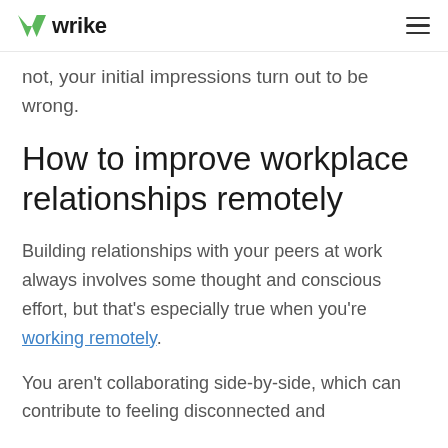wrike
not, your initial impressions turn out to be wrong.
How to improve workplace relationships remotely
Building relationships with your peers at work always involves some thought and conscious effort, but that's especially true when you're working remotely.
You aren't collaborating side-by-side, which can contribute to feeling disconnected and